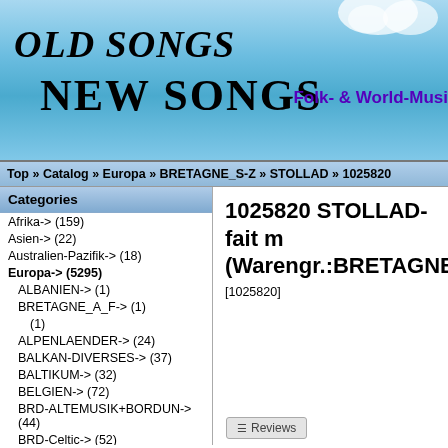[Figure (other): Website header banner with 'OLD SONGS NEW SONGS' title and 'Folk- & World-Musi' subtitle on a sky-blue background with clouds]
Top » Catalog » Europa » BRETAGNE_S-Z » STOLLAD » 1025820
Categories
Afrika-> (159)
Asien-> (22)
Australien-Pazifik-> (18)
Europa-> (5295)
ALBANIEN-> (1)
BRETAGNE_A_F-> (1)
(1)
ALPENLAENDER-> (24)
BALKAN-DIVERSES-> (37)
BALTIKUM-> (32)
BELGIEN-> (72)
BRD-ALTEMUSIK+BORDUN-> (44)
BRD-Celtic-> (52)
BRD-DIV.EINFLUESSE-> (150)
BRD-KINDERWELTMUSIK-> (6)
BRD-KLEINKUNST+LIED-> (94)
BRETAGNE_A-F-> (237)
BRETAGNE_G-L-> (213)
BRETAGNE_M-R-> (139)
1025820 STOLLAD-fait m (Warengr.:BRETAGNE_S
[1025820]
Reviews